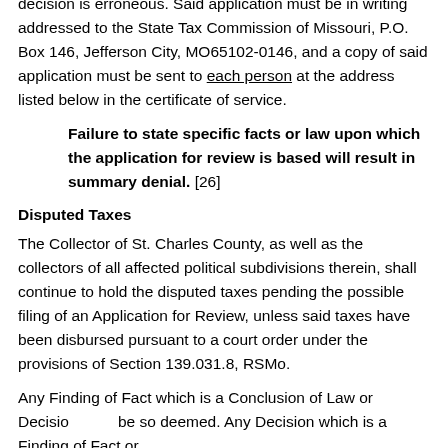decision is erroneous. Said application must be in writing addressed to the State Tax Commission of Missouri, P.O. Box 146, Jefferson City, MO65102-0146, and a copy of said application must be sent to each person at the address listed below in the certificate of service.
Failure to state specific facts or law upon which the application for review is based will result in summary denial. [26]
Disputed Taxes
The Collector of St. Charles County, as well as the collectors of all affected political subdivisions therein, shall continue to hold the disputed taxes pending the possible filing of an Application for Review, unless said taxes have been disbursed pursuant to a court order under the provisions of Section 139.031.8, RSMo.
Any Finding of Fact which is a Conclusion of Law or Decision shall be so deemed. Any Decision which is a Finding of Fact or